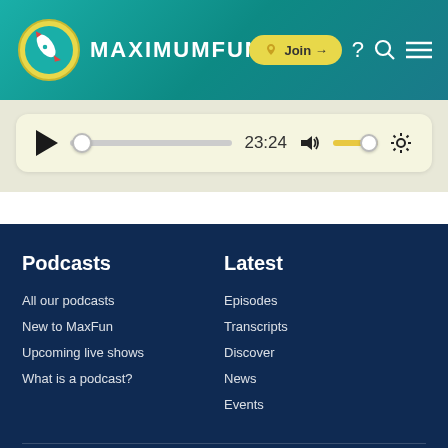[Figure (logo): MaximumFun logo: rocket in yellow circle with teal background, brand name MAXIMUMFUN in white text]
[Figure (screenshot): Audio player bar with play button, progress slider at start, time 23:24, volume control, and settings gear icon on light yellow background]
Podcasts
All our podcasts
New to MaxFun
Upcoming live shows
What is a podcast?
Latest
Episodes
Transcripts
Discover
News
Events
About
Store